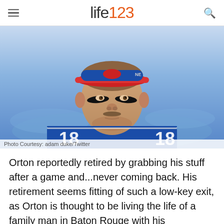life123
[Figure (photo): Close-up photo of NFL quarterback wearing Buffalo Bills blue jersey with number 18, blue visor with red brim, eye black under eyes, slight mustache, looking to the side.]
Photo Courtesy: adam duke/Twitter
Orton reportedly retired by grabbing his stuff after a game and...never coming back. His retirement seems fitting of such a low-key exit, as Orton is thought to be living the life of a family man in Baton Rouge with his